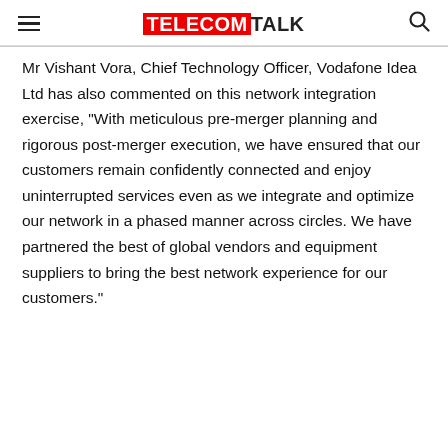TELECOMTALK
Mr Vishant Vora, Chief Technology Officer, Vodafone Idea Ltd has also commented on this network integration exercise, “With meticulous pre-merger planning and rigorous post-merger execution, we have ensured that our customers remain confidently connected and enjoy uninterrupted services even as we integrate and optimize our network in a phased manner across circles. We have partnered the best of global vendors and equipment suppliers to bring the best network experience for our customers.”